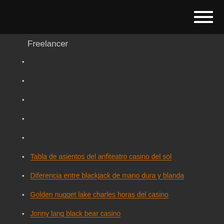Freelancer
Tabla de asientos del anfiteatro casino del sol
Diferencia entre blackjack de mano dura y blanda
Golden nugget lake charles horas del casino
Jonny lang black bear casino
Como ser un profesional del poker
Sistemas de estanterías murales de doble ranura
Asrock b85 4 ranuras de memoria ddr3
Tostadoras de ranura larga 4 rebanadas